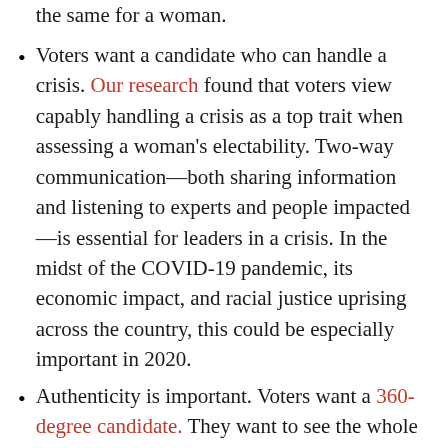vote for a man they don't like, but will not do the same for a woman.
Voters want a candidate who can handle a crisis. Our research found that voters view capably handling a crisis as a top trait when assessing a woman's electability. Two-way communication—both sharing information and listening to experts and people impacted—is essential for leaders in a crisis. In the midst of the COVID-19 pandemic, its economic impact, and racial justice uprising across the country, this could be especially important in 2020.
Authenticity is important. Voters want a 360-degree candidate. They want to see the whole of the candidate's human experience, and how it will affect the decisions she makes as a leader. Women in politics have recently